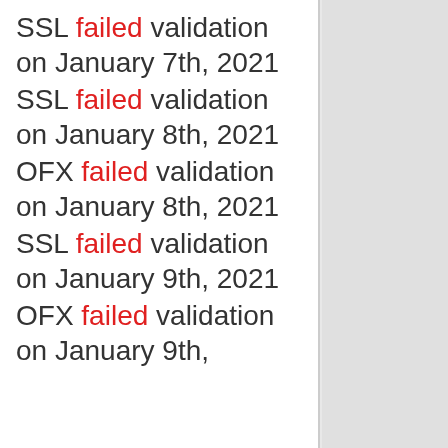SSL failed validation on January 7th, 2021
SSL failed validation on January 8th, 2021
OFX failed validation on January 8th, 2021
SSL failed validation on January 9th, 2021
OFX failed validation on January 9th, 2021